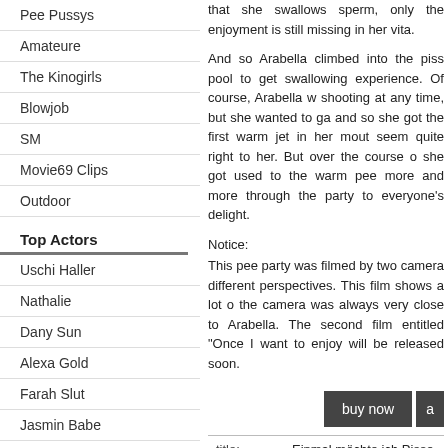Pee Pussys
Amateure
The Kinogirls
Blowjob
SM
Movie69 Clips
Outdoor
Top Actors
Uschi Haller
Nathalie
Dany Sun
Alexa Gold
Farah Slut
Jasmin Babe
Tyara Wild
Cleo
that she swallows sperm, only the enjoyment is still missing in her vita.
And so Arabella climbed into the piss pool to get swallowing experience. Of course, Arabella was shooting at any time, but she wanted to ga and so she got the first warm jet in her mout seem quite right to her. But over the course o she got used to the warm pee more and more through the party to everyone's delight.
Notice:
This pee party was filmed by two camera different perspectives. This film shows a lot o the camera was always very close to Arabella The second film entitled "Once I want to enjoy will be released soon.
| title: | added: |
| --- | --- |
| Einmal möchte ich Pisse trinken | 07 March 2022 |